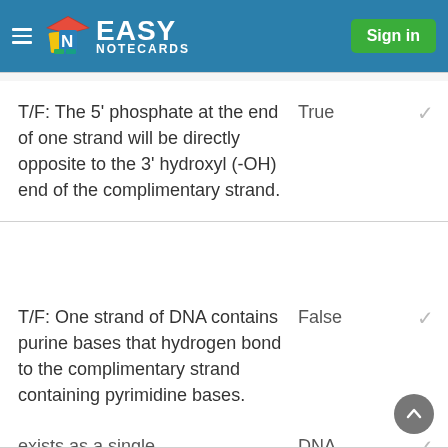Easy Notecards — Sign in
T/F: The 5' phosphate at the end of one strand will be directly opposite to the 3' hydroxyl (-OH) end of the complimentary strand.
T/F: One strand of DNA contains purine bases that hydrogen bond to the complimentary strand containing pyrimidine bases.
exists as a single